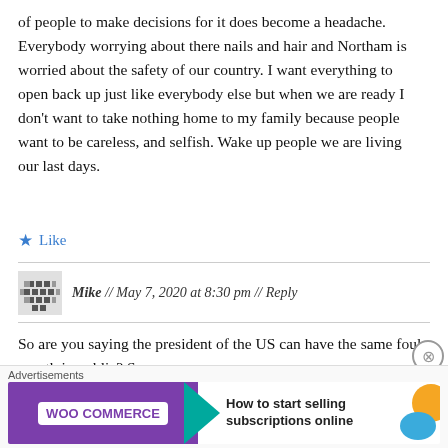of people to make decisions for it does become a headache. Everybody worrying about there nails and hair and Northam is worried about the safety of our country. I want everything to open back up just like everybody else but when we are ready I don't want to take nothing home to my family because people want to be careless, and selfish. Wake up people we are living our last days.
★ Like
Mike // May 7, 2020 at 8:30 pm // Reply
So are you saying the president of the US can have the same foul mouth in public? Saw no one
[Figure (other): WooCommerce advertisement banner: 'How to start selling subscriptions online']